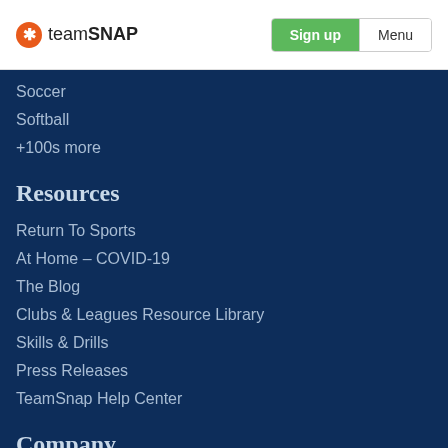teamSNAP | Sign up | Menu
Soccer
Softball
+100s more
Resources
Return To Sports
At Home – COVID-19
The Blog
Clubs & Leagues Resource Library
Skills & Drills
Press Releases
TeamSnap Help Center
Company